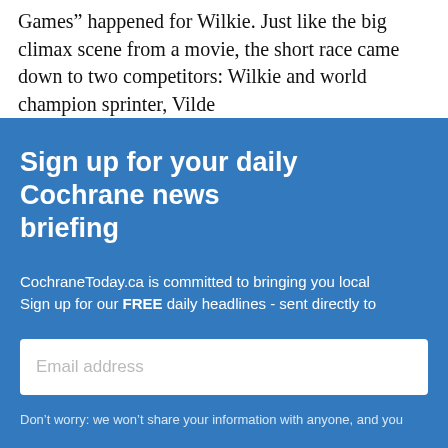Games” happened for Wilkie. Just like the big climax scene from a movie, the short race came down to two competitors: Wilkie and world champion sprinter, Vilde
Sign up for your daily Cochrane news briefing
CochraneToday.ca is committed to bringing you local news. Sign up for our FREE daily headlines - sent directly to your inbox.
Email address
Don’t worry: we won’t share your information with anyone, and you
[Figure (advertisement): Caselot Sale advertisement banner for Save-On Foods with red background, yellow SALE text, SHOP NOW button, and Save-On Foods green logo]